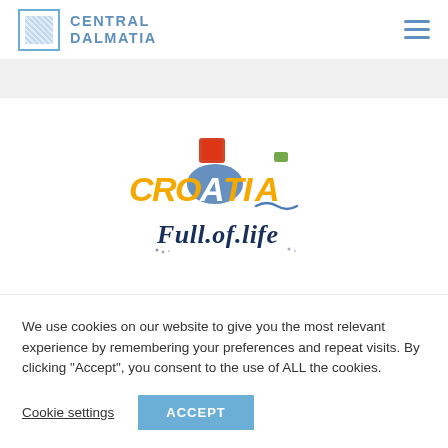CENTRAL DALMATIA
[Figure (logo): Croatia Full of Life tourism logo — stylized colorful text 'CROATIA' with a red square above the 'A', a blue brushstroke background behind 'A', and green accent; below reads 'Full of Life' in dark navy handwritten style]
We use cookies on our website to give you the most relevant experience by remembering your preferences and repeat visits. By clicking “Accept”, you consent to the use of ALL the cookies.
Cookie settings | ACCEPT